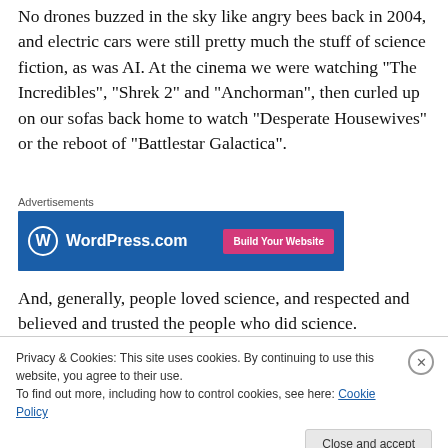No drones buzzed in the sky like angry bees back in 2004, and electric cars were still pretty much the stuff of science fiction, as was AI. At the cinema we were watching “The Incredibles”, “Shrek 2” and “Anchorman”, then curled up on our sofas back home to watch “Desperate Housewives” or the reboot of “Battlestar Galactica”.
[Figure (screenshot): WordPress.com advertisement banner with blue background, WordPress logo, site name text, and pink 'Build Your Website' button]
And, generally, people loved science, and respected and believed and trusted the people who did science.
Privacy & Cookies: This site uses cookies. By continuing to use this website, you agree to their use.
To find out more, including how to control cookies, see here: Cookie Policy
Close and accept